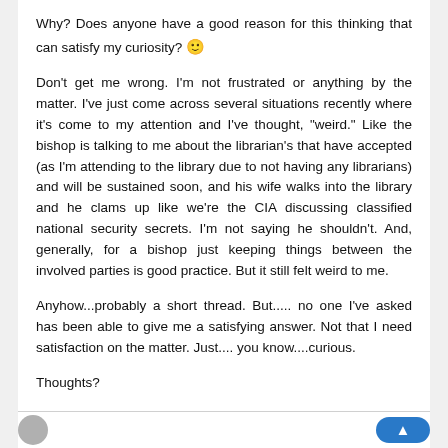Why? Does anyone have a good reason for this thinking that can satisfy my curiosity? 🙂
Don't get me wrong. I'm not frustrated or anything by the matter. I've just come across several situations recently where it's come to my attention and I've thought, "weird." Like the bishop is talking to me about the librarian's that have accepted (as I'm attending to the library due to not having any librarians) and will be sustained soon, and his wife walks into the library and he clams up like we're the CIA discussing classified national security secrets. I'm not saying he shouldn't. And, generally, for a bishop just keeping things between the involved parties is good practice. But it still felt weird to me.
Anyhow...probably a short thread. But..... no one I've asked has been able to give me a satisfying answer. Not that I need satisfaction on the matter. Just.... you know....curious.
Thoughts?